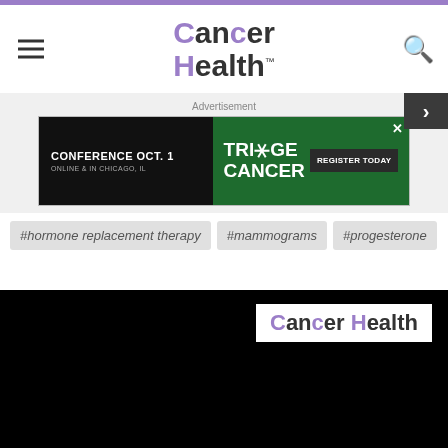Cancer Health
[Figure (screenshot): Cancer Health website header with hamburger menu, Cancer Health logo, and search icon]
[Figure (screenshot): Advertisement banner for Triage Cancer Conference OCT. 1, Online & in Chicago, IL with Register Today button]
#hormone replacement therapy
#mammograms
#progesterone
[Figure (screenshot): Black video player thumbnail with Cancer Health logo displayed in upper right area]